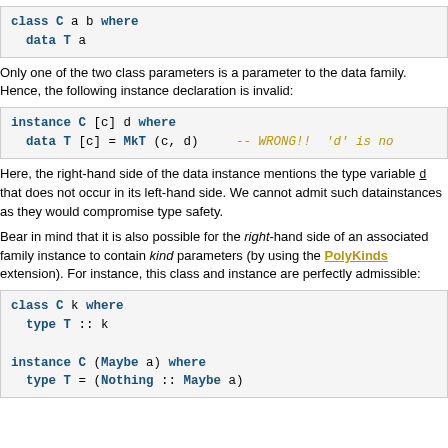[Figure (screenshot): Code block showing: class C a b where / data T a]
Only one of the two class parameters is a parameter to the data family. Hence, the following instance declaration is invalid:
[Figure (screenshot): Code block showing: instance C [c] d where / data T [c] = MkT (c, d)    -- WRONG!!  'd' is no]
Here, the right-hand side of the data instance mentions the type variable d that does not occur in its left-hand side. We cannot admit such data instances as they would compromise type safety.
Bear in mind that it is also possible for the right-hand side of an associated family instance to contain kind parameters (by using the PolyKinds extension). For instance, this class and instance are perfectly admissible:
[Figure (screenshot): Code block showing: class C k where / type T :: k / instance C (Maybe a) where / type T = (Nothing :: Maybe a)]